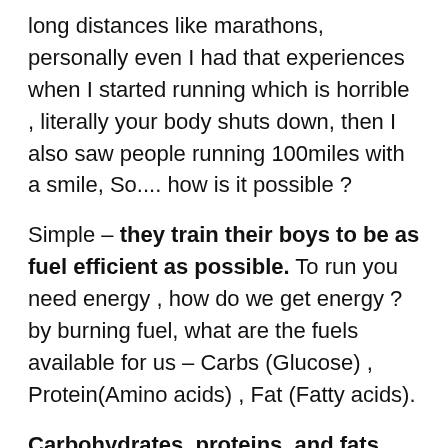long distances like marathons, personally even I had that experiences when I started running which is horrible , literally your body shuts down, then I also saw people running 100miles with a smile, So.... how is it possible ?
Simple – they train their boys to be as fuel efficient as possible. To run you need energy , how do we get energy ? by burning fuel, what are the fuels available for us – Carbs (Glucose) , Protein(Amino acids) , Fat (Fatty acids).
Carbohydrates, proteins, and fats supply 90% of the dry weight of the diet and 100% of its energy. All